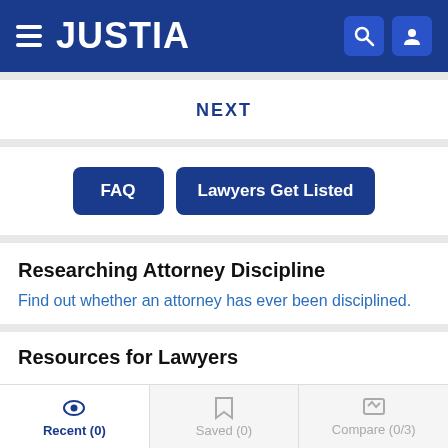[Figure (screenshot): Justia website header with dark blue background, hamburger menu icon on left, JUSTIA logo in white, search and user icons on right]
NEXT
[Figure (screenshot): Two navigation buttons: FAQ and Lawyers Get Listed, both dark blue with white text]
Researching Attorney Discipline
Find out whether an attorney has ever been disciplined.
Resources for Lawyers
Recent (0)  Saved (0)  Compare (0/3)